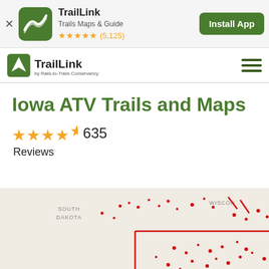[Figure (screenshot): App install banner for TrailLink - Trails Maps & Guide app with 5-star rating (5,125 reviews) and Install App button]
[Figure (logo): TrailLink by Rails-to-Trails Conservancy navigation bar logo with hamburger menu]
Iowa ATV Trails and Maps
★★★★★ 635 Reviews
[Figure (map): Map showing Iowa ATV trails highlighted in red, with surrounding states visible including South Dakota, Nebraska, Wisconsin, and Illinois]